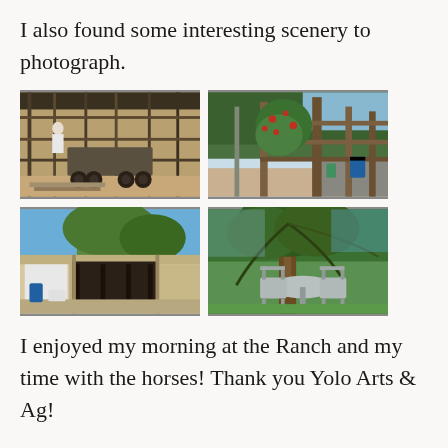I also found some interesting scenery to photograph.
[Figure (photo): Farm equipment and metal fencing with a person working inside a barn/livestock pen area, ATV/quad bike visible, dirt ground, rural agricultural setting]
[Figure (photo): Wooden gate/fence entrance with flowering vines and vegetation, blue barrel visible, paved driveway, trees in background]
[Figure (photo): Open-sided barn or shed building with concrete floor, blue barrel on left, trees and blue sky visible behind]
[Figure (photo): Outdoor seating area under a willow-like tree with wrought iron table and chairs, lush green vegetation background]
I enjoyed my morning at the Ranch and my time with the horses! Thank you Yolo Arts & Ag!